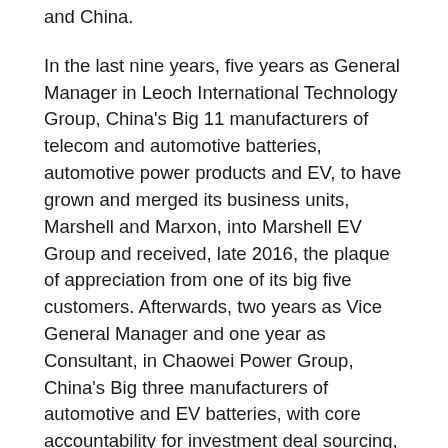and China.
In the last nine years, five years as General Manager in Leoch International Technology Group, China's Big 11 manufacturers of telecom and automotive batteries, automotive power products and EV, to have grown and merged its business units, Marshell and Marxon, into Marshell EV Group and received, late 2016, the plaque of appreciation from one of its big five customers. Afterwards, two years as Vice General Manager and one year as Consultant, in Chaowei Power Group, China's Big three manufacturers of automotive and EV batteries, with core accountability for investment deal sourcing, execution and portfolio management, targeting global projects of electric vehicle, battery and renewable energy storage to help Chaowei Power Group grow beyond China.
Since 2020, hitting the road to realize my vision... Well, if